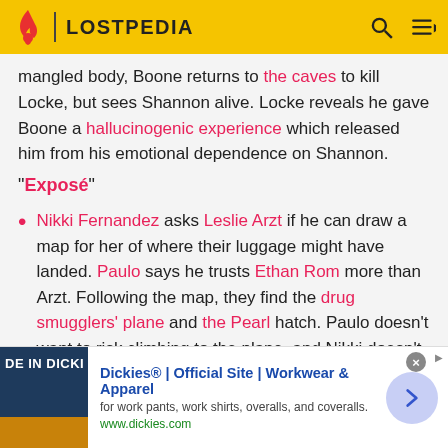LOSTPEDIA
mangled body, Boone returns to the caves to kill Locke, but sees Shannon alive. Locke reveals he gave Boone a hallucinogenic experience which released him from his emotional dependence on Shannon.
"Exposé"
Nikki Fernandez asks Leslie Arzt if he can draw a map for her of where their luggage might have landed. Paulo says he trusts Ethan Rom more than Arzt. Following the map, they find the drug smugglers' plane and the Pearl hatch. Paulo doesn't want to risk climbing to the plane, and Nikki doesn't want to waste
[Figure (infographic): Dickies advertisement banner: 'Dickies® | Official Site | Workwear & Apparel' with image of DE IN DICKI text, description 'for work pants, work shirts, overalls, and coveralls.' and URL www.dickies.com]